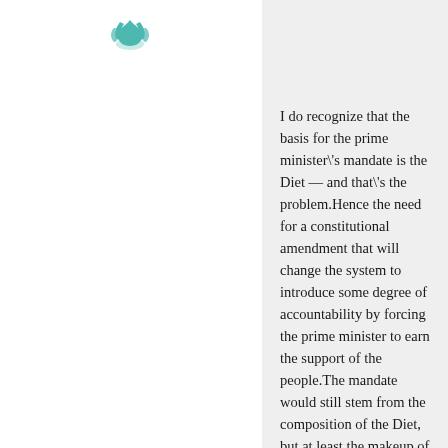[Figure (logo): Teal/turquoise lotus or crown-like icon logo at top left area]
I do recognize that the basis for the prime minister\'s mandate is the Diet — and that\'s the problem.Hence the need for a constitutional amendment that will change the system to introduce some degree of accountability by forcing the prime minister to earn the support of the people.The mandate would still stem from the composition of the Diet, but at least the makeup of